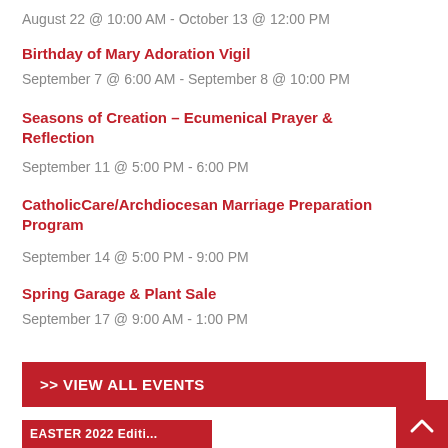August 22 @ 10:00 AM - October 13 @ 12:00 PM
Birthday of Mary Adoration Vigil
September 7 @ 6:00 AM - September 8 @ 10:00 PM
Seasons of Creation – Ecumenical Prayer & Reflection
September 11 @ 5:00 PM - 6:00 PM
CatholicCare/Archdiocesan Marriage Preparation Program
September 14 @ 5:00 PM - 9:00 PM
Spring Garage & Plant Sale
September 17 @ 9:00 AM - 1:00 PM
>> VIEW ALL EVENTS
EASTER 2022 Editi...